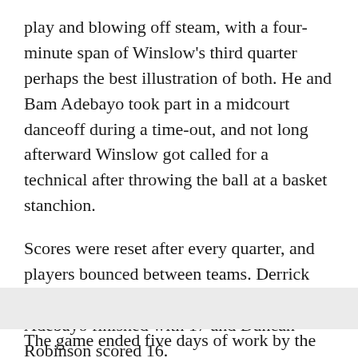play and blowing off steam, with a four-minute span of Winslow's third quarter perhaps the best illustration of both. He and Bam Adebayo took part in a midcourt danceoff during a time-out, and not long afterward Winslow got called for a technical after throwing the ball at a basket stanchion.
Scores were reset after every quarter, and players bounced between teams. Derrick Jones Jr. led all scorers with 21 points, Adebayo finished with 17 and Duncan Robinson scored 16.
"It's great to be back," Wade said.
The game ended five days of work by the Heat at